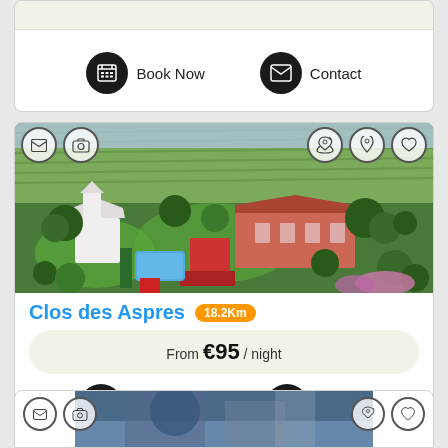[Figure (screenshot): Top of listing card showing Book Now and Contact buttons]
[Figure (photo): Aerial view of Clos des Aspres property with villa, pool, gardens and vineyards]
Clos des Aspres 18.2Km
From €95 / night
View Photos  Contact
[Figure (photo): Bottom partial card showing another property listing]